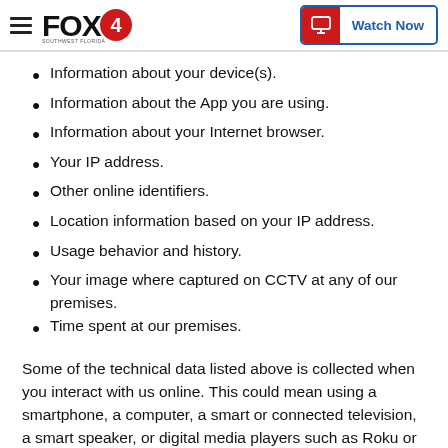FOX4 | Watch Now
Information about your device(s).
Information about the App you are using.
Information about your Internet browser.
Your IP address.
Other online identifiers.
Location information based on your IP address.
Usage behavior and history.
Your image where captured on CCTV at any of our premises.
Time spent at our premises.
Some of the technical data listed above is collected when you interact with us online. This could mean using a smartphone, a computer, a smart or connected television, a smart speaker, or digital media players such as Roku or Amazon Fire. When you use a device or a service made by someone else to view our content, your